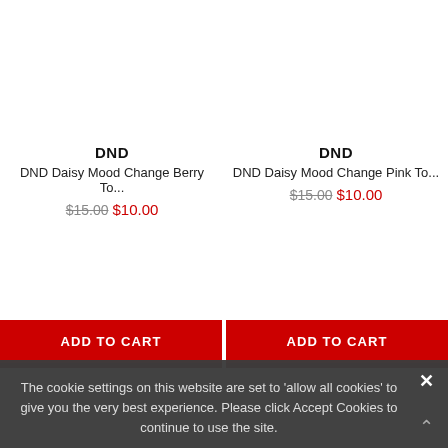DND
DND Daisy Mood Change Berry To...
$15.00  $10.00
ADD TO CART
DND
DND Daisy Mood Change Pink To...
$15.00  $10.00
ADD TO CART
The cookie settings on this website are set to 'allow all cookies' to give you the very best experience. Please click Accept Cookies to continue to use the site.
ACCEPT COOKIES
PRIVACY POLICY
[Figure (illustration): Play widget with circular icon and 'Play' label on a pink/lavender background]
ADD TO CART